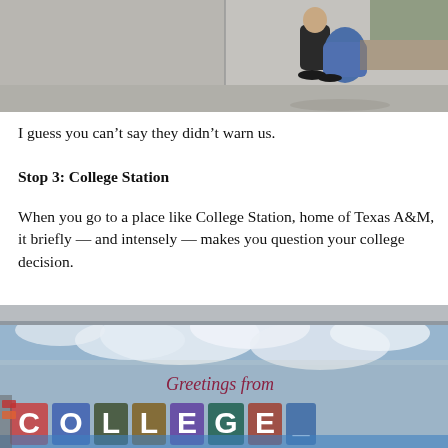[Figure (photo): Top portion of a photo showing a sidewalk scene with a person crouching near a curb, wearing dark clothing and sandals, with a blue bag, on a concrete sidewalk.]
I guess you can't say they didn't warn us.
Stop 3: College Station
When you go to a place like College Station, home of Texas A&M, it briefly — and intensely — makes you question your college decision.
[Figure (photo): Bottom portion of a photo showing a 'Greetings from' mural painted on the side of a building, with stylized large letters and a sky with clouds background, colorful postcard-style artwork.]